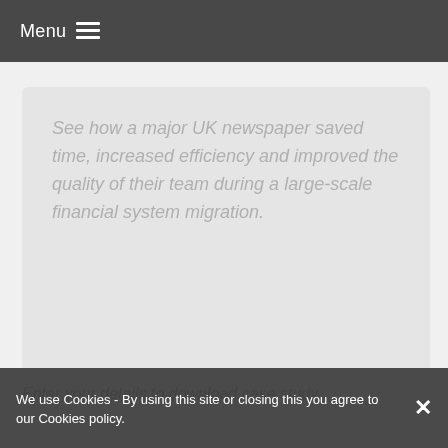Menu ☰
See how a major UK newspaper saved time, increased efficiency and improved the quality of their team during a large-scale financial system migration.
Enter your details to download case study
We use Cookies - By using this site or closing this you agree to our Cookies policy.